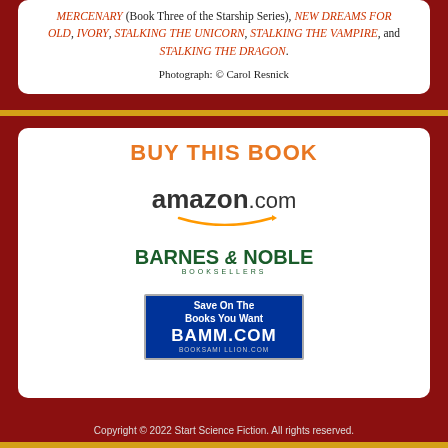MERCENARY (Book Three of the Starship Series), NEW DREAMS FOR OLD, IVORY, STALKING THE UNICORN, STALKING THE VAMPIRE, and STALKING THE DRAGON.
Photograph: © Carol Resnick
BUY THIS BOOK
[Figure (logo): Amazon.com logo with orange smile/arrow beneath the text]
[Figure (logo): Barnes & Noble Booksellers logo in green]
[Figure (logo): BAMM.COM (BooksAMillion.com) blue box logo with text 'Save On The Books You Want']
Copyright © 2022 Start Science Fiction. All rights reserved.